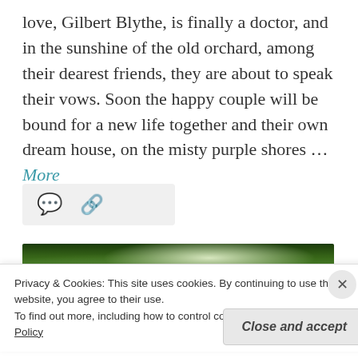love, Gilbert Blythe, is finally a doctor, and in the sunshine of the old orchard, among their dearest friends, they are about to speak their vows. Soon the happy couple will be bound for a new life together and their own dream house, on the misty purple shores … More
[Figure (screenshot): Icon bar with comment bubble icon and chain-link icon on a light grey background]
[Figure (photo): A narrow horizontal photo strip showing green trees and foliage with bright light in the center, appearing to be a garden or orchard path]
Privacy & Cookies: This site uses cookies. By continuing to use this website, you agree to their use.
To find out more, including how to control cookies, see here: Cookie Policy
Close and accept